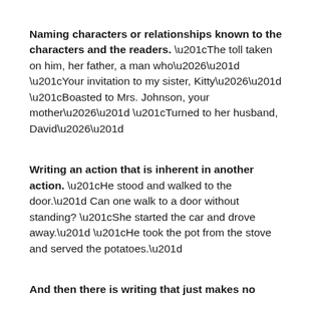Naming characters or relationships known to the characters and the readers. “The toll taken on him, her father, a man who…”  “Your invitation to my sister, Kitty…”  “Boasted to Mrs. Johnson, your mother…”  “Turned to her husband, David…”
Writing an action that is inherent in another action. “He stood and walked to the door.” Can one walk to a door without standing? “She started the car and drove away.” “He took the pot from the stove and served the potatoes.”
And then there is writing that just makes no